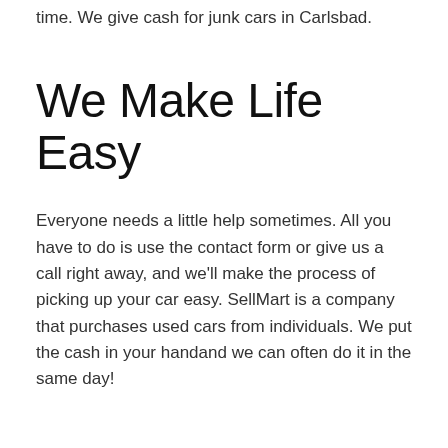time. We give cash for junk cars in Carlsbad.
We Make Life Easy
Everyone needs a little help sometimes. All you have to do is use the contact form or give us a call right away, and we'll make the process of picking up your car easy. SellMart is a company that purchases used cars from individuals. We put the cash in your handand we can often do it in the same day!